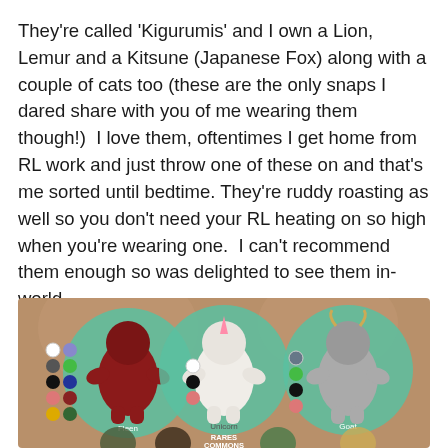They're called 'Kigurumis' and I own a Lion, Lemur and a Kitsune (Japanese Fox) along with a couple of cats too (these are the only snaps I dared share with you of me wearing them though!)  I love them, oftentimes I get home from RL work and just throw one of these on and that's me sorted until bedtime. They're ruddy roasting as well so you don't need your RL heating on so high when you're wearing one.  I can't recommend them enough so was delighted to see them in-world...
[Figure (illustration): A product image showing Kigurumi animal onesie costumes (Fleen, Unicorn, Goat) displayed with color swatches on a brown background, with additional smaller costumes visible at the bottom labeled RARES and COMMONS.]